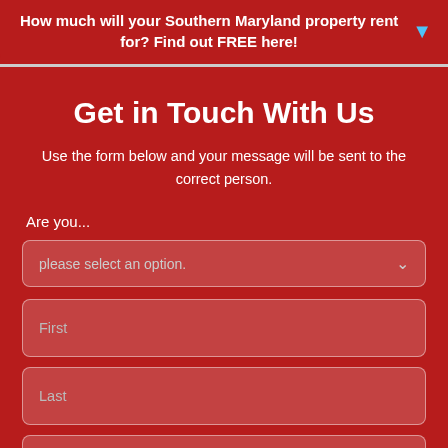How much will your Southern Maryland property rent for? Find out FREE here!
Get in Touch With Us
Use the form below and your message will be sent to the correct person.
Are you...
please select an option.
First
Last